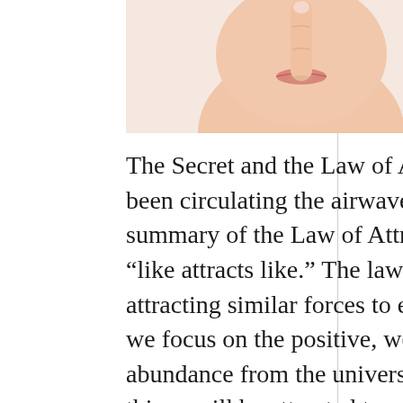[Figure (photo): Close-up photo of a person holding their index finger to their lips in a 'shh' or silence gesture, showing lower face, neck, and finger against a white background.]
The Secret and the Law of Attraction have been circulating the airwaves. A basic summary of the Law of Attraction is that “like attracts like.” The law works by attracting similar forces to each other. If we focus on the positive, we will manifest abundance from the universe and positive things will be attracted to us. If we think